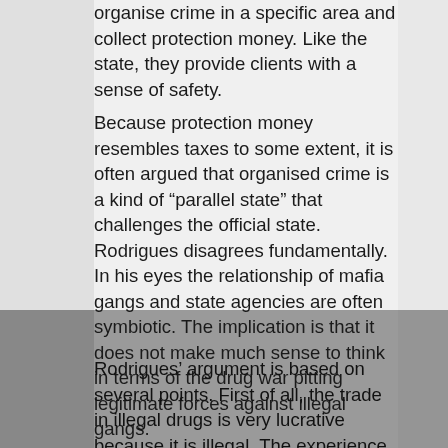organise crime in a specific area and collect protection money. Like the state, they provide clients with a sense of safety.
Because protection money resembles taxes to some extent, it is often argued that organised crime is a kind of “parallel state” that challenges the official state. Rodrigues disagrees fundamentally. In his eyes the relationship of mafia gangs and state agencies are often symbiotic. The implication is that it does not make much sense to think in terms of the drug war pitting legitimate forces against illegal gangs.
Rodrigues’ argument is based on several points. First of all, the trade in illegal drugs is very lucrative because it is illegal. The experience of past